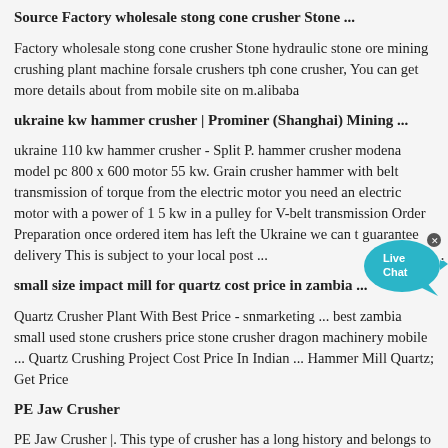Source Factory wholesale stong cone crusher Stone ...
Factory wholesale stong cone crusher Stone hydraulic stone ore mining crushing plant machine forsale crushers tph cone crusher, You can get more details about from mobile site on m.alibaba
ukraine kw hammer crusher | Prominer (Shanghai) Mining ...
ukraine 110 kw hammer crusher - Split P. hammer crusher modena model pc 800 x 600 motor 55 kw. Grain crusher hammer with belt transmission of torque from the electric motor you need an electric motor with a power of 1 5 kw in a pulley for V-belt transmission Order Preparation once ordered item has left the Ukraine we can t guarantee delivery This is subject to your local post ...
small size impact mill for quartz cost price in zambia ...
Quartz Crusher Plant With Best Price - snmarketing ... best zambia small used stone crushers price stone crusher dragon machinery mobile ... Quartz Crushing Project Cost Price In Indian ... Hammer Mill Quartz; Get Price
PE Jaw Crusher
PE Jaw Crusher |. This type of crusher has a long history and belongs to traditional crushing equipment. Its motor drives the eccentric shaft to rotate via V-belt pulley and movable jaw to carry out a periodical complex pendular movement to generate crush …